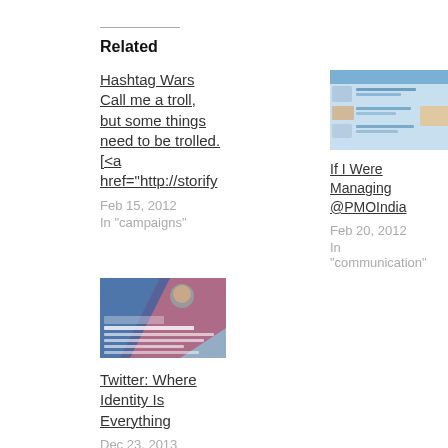Related
Hashtag Wars
Call me a troll, but some things need to be trolled. [&lt;a href="http://storify
Feb 15, 2012
In "campaigns"
[Figure (screenshot): Screenshot of a Twitter or social media webpage with blue header and list of tweets]
If I Were Managing @PMOIndia
Feb 20, 2012
In "communication"
[Figure (screenshot): Screenshot of a Twitter profile page with a person's avatar, colorful blue and red background, and Twitter feed content]
Twitter: Where Identity Is Everything
Dec 23, 2013
In "digital"